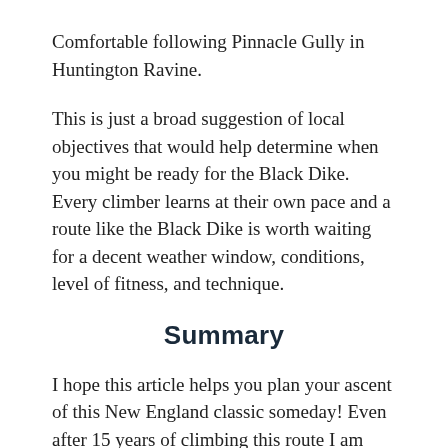Comfortable following Pinnacle Gully in Huntington Ravine.
This is just a broad suggestion of local objectives that would help determine when you might be ready for the Black Dike. Every climber learns at their own pace and a route like the Black Dike is worth waiting for a decent weather window, conditions, level of fitness, and technique.
Summary
I hope this article helps you plan your ascent of this New England classic someday! Even after 15 years of climbing this route I am blown away that we have such a thing in the East. Feel free